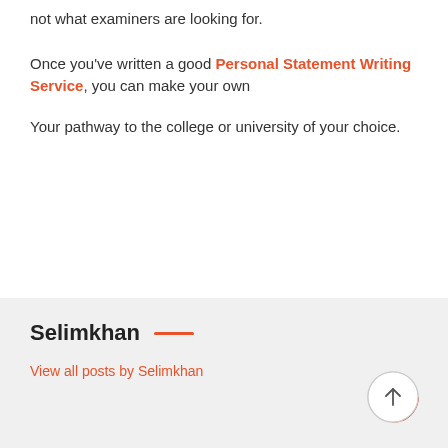not what examiners are looking for.
Once you've written a good Personal Statement Writing Service, you can make your own
Your pathway to the college or university of your choice.
Selimkhan
View all posts by Selimkhan